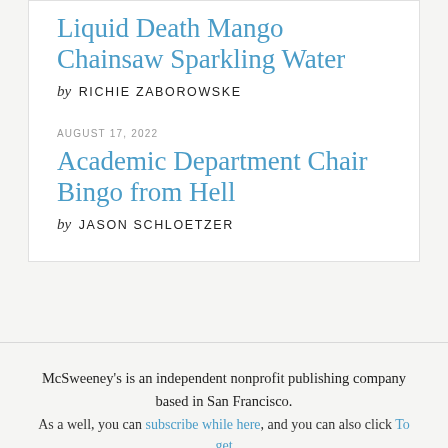Liquid Death Mango Chainsaw Sparkling Water
by RICHIE ZABOROWSKE
AUGUST 17, 2022
Academic Department Chair Bingo from Hell
by JASON SCHLOETZER
McSweeney's is an independent nonprofit publishing company based in San Francisco.
As a well, you can subscribe while here, and you can also click To get...